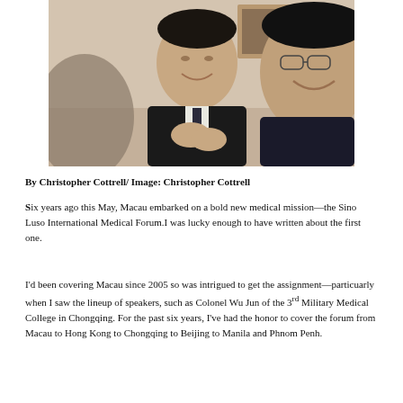[Figure (photo): Two Asian men in dark suits laughing and smiling, one clapping hands, photographed indoors with a framed picture visible in background.]
By Christopher Cottrell/ Image: Christopher Cottrell
Six years ago this May, Macau embarked on a bold new medical mission—the Sino Luso International Medical Forum.I was lucky enough to have written about the first one.
I'd been covering Macau since 2005 so was intrigued to get the assignment—particuarly when I saw the lineup of speakers, such as Colonel Wu Jun of the 3rd Military Medical College in Chongqing. For the past six years, I've had the honor to cover the forum from Macau to Hong Kong to Chongqing to Beijing to Manila and Phnom Penh.